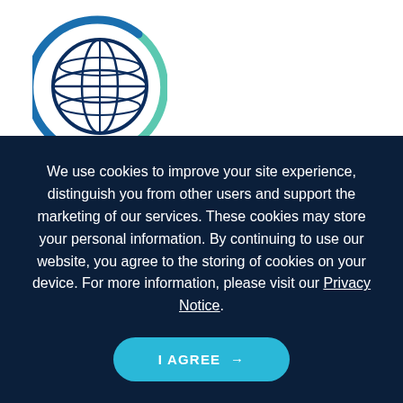[Figure (illustration): Globe/world icon with blue and teal circular arc around it, representing global market coverage]
Market
Demand for asset management products across the globe varies across regions, borders, and channels. Explore and
We use cookies to improve your site experience, distinguish you from other users and support the marketing of our services. These cookies may store your personal information. By continuing to use our website, you agree to the storing of cookies on your device. For more information, please visit our Privacy Notice.
I AGREE →